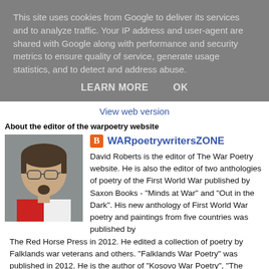This site uses cookies from Google to deliver its services and to analyze traffic. Your IP address and user-agent are shared with Google along with performance and security metrics to ensure quality of service, generate usage statistics, and to detect and address abuse.
LEARN MORE    OK
View web version
About the editor of the warpoetry website
[Figure (photo): Profile photo of David Roberts, a middle-aged man with glasses and a goatee]
WARpoetrywritersZONE
David Roberts is the editor of The War Poetry website. He is also the editor of two anthologies of poetry of the First World War published by Saxon Books - "Minds at War" and "Out in the Dark". His new anthology of First World War poetry and paintings from five countries was published by The Red Horse Press in 2012. He edited a collection of poetry by Falklands war veterans and others. "Falklands War Poetry" was published in 2012. He is the author of "Kosovo War Poetry", "The European Union and You", and "Lessons from Iraq - the United Nations must be reformed".